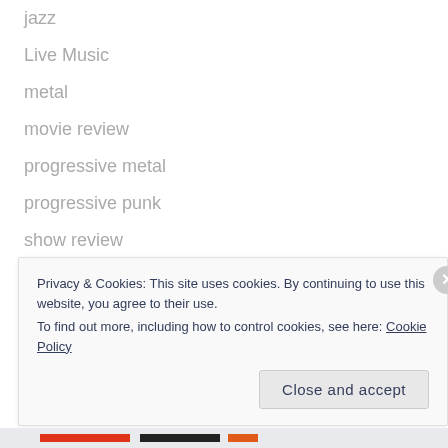jazz
Live Music
metal
movie review
progressive metal
progressive punk
show review
SubT
Uncategorized
Privacy & Cookies: This site uses cookies. By continuing to use this website, you agree to their use.
To find out more, including how to control cookies, see here: Cookie Policy